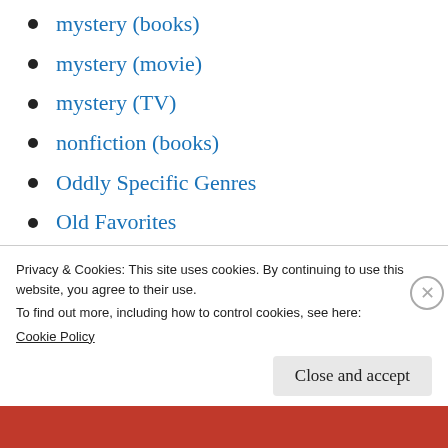mystery (books)
mystery (movie)
mystery (TV)
nonfiction (books)
Oddly Specific Genres
Old Favorites
Penelope's Poetry Parlor
period drama (movie)
period drama (TV)
poetry (books)
Reader Suggestions
Privacy & Cookies: This site uses cookies. By continuing to use this website, you agree to their use.
To find out more, including how to control cookies, see here: Cookie Policy
Close and accept